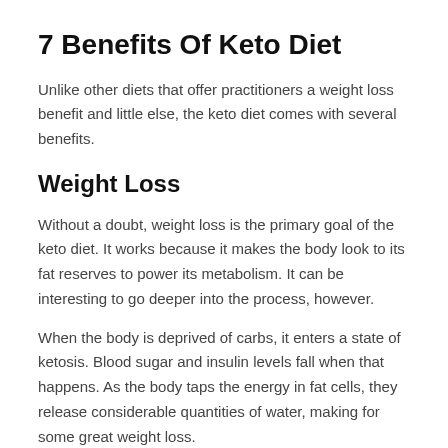7 Benefits Of Keto Diet
Unlike other diets that offer practitioners a weight loss benefit and little else, the keto diet comes with several benefits.
Weight Loss
Without a doubt, weight loss is the primary goal of the keto diet. It works because it makes the body look to its fat reserves to power its metabolism. It can be interesting to go deeper into the process, however.
When the body is deprived of carbs, it enters a state of ketosis. Blood sugar and insulin levels fall when that happens. As the body taps the energy in fat cells, they release considerable quantities of water, making for some great weight loss.
The fat cells are then able to enter the bloodstream and make